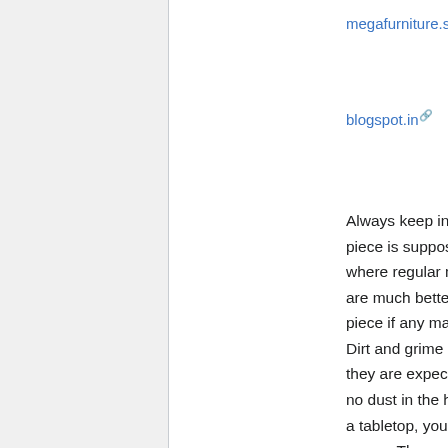megafurniture.sg
blogspot.in
Always keep in mind of how the piece is supposed to be used and where regular marks should be. You are much better off not buying the piece if any mark looks unexpected. Dirt and grime need to be where they are expected to be. If there is no dust in the hard to reach areas of a tabletop, you know something is wrong. The wear needs to be unequal and differs with different pieces. Some have any others and scars hardly have marks. If you do decide to replace a broken part of the piece, like a deal with or leg, keep in mind that this will diminish the piece's value. Bear in mind that furnishings pieces in their original pristine condition